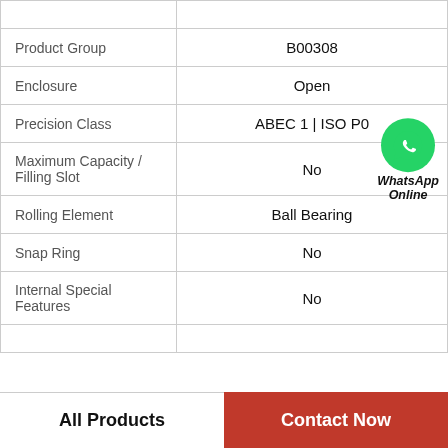| Property | Value |
| --- | --- |
|  |  |
| Product Group | B00308 |
| Enclosure | Open |
| Precision Class | ABEC 1 | ISO P0 |
| Maximum Capacity / Filling Slot | No |
| Rolling Element | Ball Bearing |
| Snap Ring | No |
| Internal Special Features | No |
|  |  |
All Products   Contact Now